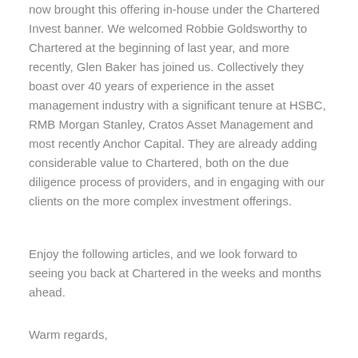now brought this offering in-house under the Chartered Invest banner. We welcomed Robbie Goldsworthy to Chartered at the beginning of last year, and more recently, Glen Baker has joined us. Collectively they boast over 40 years of experience in the asset management industry with a significant tenure at HSBC, RMB Morgan Stanley, Cratos Asset Management and most recently Anchor Capital. They are already adding considerable value to Chartered, both on the due diligence process of providers, and in engaging with our clients on the more complex investment offerings.
Enjoy the following articles, and we look forward to seeing you back at Chartered in the weeks and months ahead.
Warm regards,